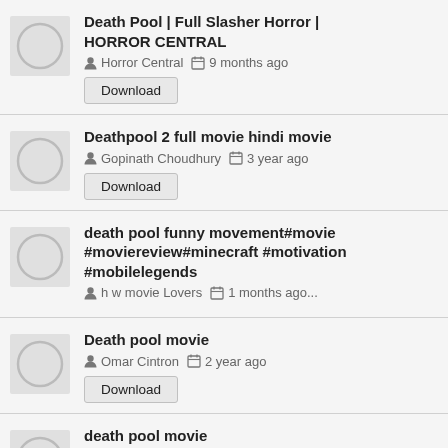Death Pool | Full Slasher Horror | HORROR CENTRAL — Horror Central — 9 months ago — Download
Deathpool 2 full movie hindi movie — Gopinath Choudhury — 3 year ago — Download
death pool funny movement#movie #moviereview#minecraft #motivation #mobilelegends — h w movie Lovers — 1 months ago...
Death pool movie — Omar Cintron — 2 year ago — Download
death pool movie — Anurag Rathore.786 — 1 year ago